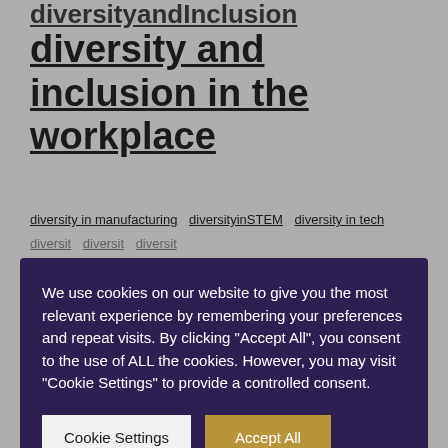diversityandInclusion
diversity and inclusion in the workplace
diversity in manufacturing   diversityinSTEM   diversity in tech
[Figure (screenshot): Cookie consent modal overlay with dark purple background. Text reads: 'We use cookies on our website to give you the most relevant experience by remembering your preferences and repeat visits. By clicking "Accept All", you consent to the use of ALL the cookies. However, you may visit "Cookie Settings" to provide a controlled consent.' Two buttons: 'Cookie Settings' (light grey) and 'Accept All' (gold/tan).]
recruitment  remote  silver  silverdiversitymark  STEM  tit  uk
workplace